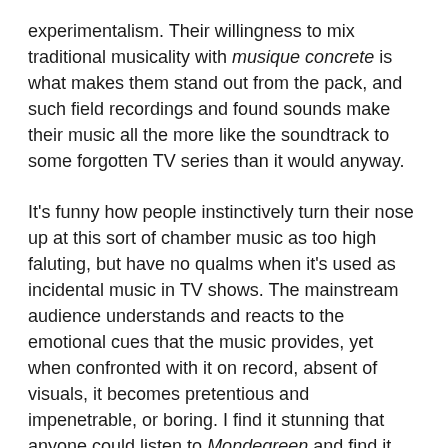experimentalism. Their willingness to mix traditional musicality with musique concrete is what makes them stand out from the pack, and such field recordings and found sounds make their music all the more like the soundtrack to some forgotten TV series than it would anyway.
It's funny how people instinctively turn their nose up at this sort of chamber music as too high faluting, but have no qualms when it's used as incidental music in TV shows. The mainstream audience understands and reacts to the emotional cues that the music provides, yet when confronted with it on record, absent of visuals, it becomes pretentious and impenetrable, or boring. I find it stunning that anyone could listen to Mondegreen and find it anything other than completely charming and whimsical, but then maybe someone who couldn't find room in their life for this album is someone with whom you might want to reconsider your relationship. A bit of